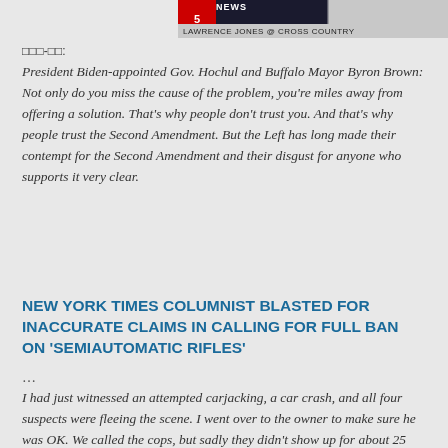[Figure (screenshot): Fox News TV screenshot showing news ticker with 'LAWRENCE JONES @ CROSS COUNTRY' text on lower bar]
□□-□□: President Biden-appointed Gov. Hochul and Buffalo Mayor Byron Brown: Not only do you miss the cause of the problem, you're miles away from offering a solution. That's why people don't trust you. And that's why people trust the Second Amendment. But the Left has long made their contempt for the Second Amendment and their disgust for anyone who supports it very clear.
NEW YORK TIMES COLUMNIST BLASTED FOR INACCURATE CLAIMS IN CALLING FOR FULL BAN ON 'SEMIAUTOMATIC RIFLES'
…
I had just witnessed an attempted carjacking, a car crash, and all four suspects were fleeing the scene. I went over to the owner to make sure he was OK. We called the cops, but sadly they didn't show up for about 25 □□. We respect our men and women in